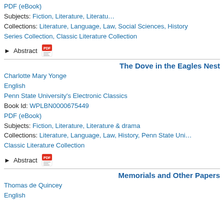PDF (eBook)
Subjects: Fiction, Literature, Literature & drama
Collections: Literature, Language, Law, Social Sciences, History Series Collection, Classic Literature Collection
Abstract
The Dove in the Eagles Nest
Charlotte Mary Yonge
English
Penn State University's Electronic Classics
Book Id: WPLBN0000675449
PDF (eBook)
Subjects: Fiction, Literature, Literature & drama
Collections: Literature, Language, Law, History, Penn State Uni… Classic Literature Collection
Abstract
Memorials and Other Papers
Thomas de Quincey
English